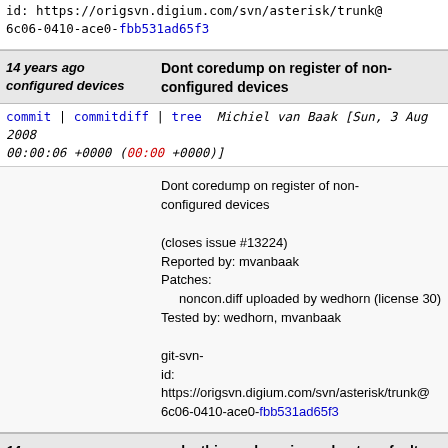id: https://origsvn.digium.com/svn/asterisk/trunk@6c06-0410-ace0-fbb531ad65f3
14 years ago configured devices  Dont coredump on register of non-configured devices
commit | commitdiff | tree   Michiel van Baak [Sun, 3 Aug 2008 00:00:06 +0000 (00:00 +0000)]
Dont coredump on register of non-configured devices

(closes issue #13224)
Reported by: mvanbaak
Patches:
    noncon.diff uploaded by wedhorn (license 30)
Tested by: wedhorn, mvanbaak

git-svn-id: https://origsvn.digium.com/svn/asterisk/trunk@6c06-0410-ace0-fbb531ad65f3
14 years ago device registration  make this work again, and not segfault on device registration
commit | commitdiff | tree   Michiel van Baak [Sat, 2 Aug 2008 13:56:00 +0000 (13:56 +0000)]
make this work again, and not segfault on device r